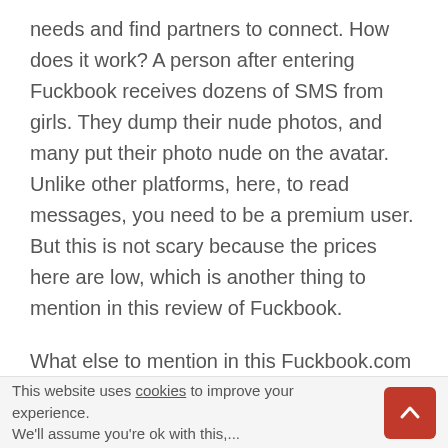needs and find partners to connect. How does it work? A person after entering Fuckbook receives dozens of SMS from girls. They dump their nude photos, and many put their photo nude on the avatar. Unlike other platforms, here, to read messages, you need to be a premium user. But this is not scary because the prices here are low, which is another thing to mention in this review of Fuckbook.
What else to mention in this Fuckbook.com review is what a paid subscription is. There are 3 types of paid subscriptions, and this is for 1 month, 3 months, and 12 months. The longer the subscription, the more significant discounts. Subscribers also receive special privileges, such as viewing all profiles and
This website uses cookies to improve your experience. We'll assume you're ok with this,...